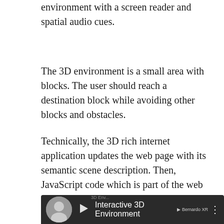environment with a screen reader and spatial audio cues.
The 3D environment is a small area with blocks. The user should reach a destination block while avoiding other blocks and obstacles.
Technically, the 3D rich internet application updates the web page with its semantic scene description. Then, JavaScript code which is part of the web page processes this semantic scene description and turns it into meaningful text for the user or into spatial audio.
[Figure (screenshot): Video thumbnail showing 'Interactive 3D Environment' with a person's avatar/photo on the left, a play button, the video title in white text on dark background, and a three-dot menu icon on the right.]